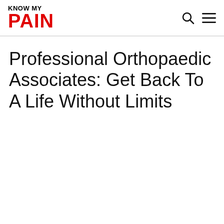KNOW MY PAIN
Professional Orthopaedic Associates: Get Back To A Life Without Limits